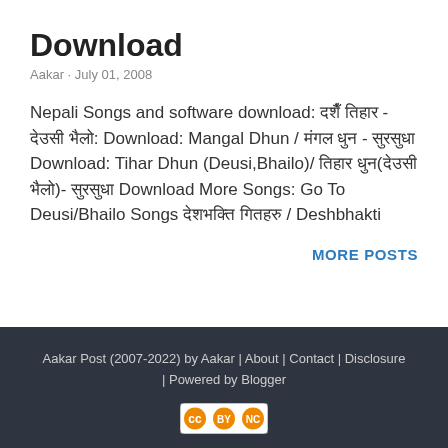Download
Aakar · July 01, 2008
Nepali Songs and software download: दशैँ तिहार - देउसी भैलो: Download: Mangal Dhun / मंगल धुन - सुरसुधा Download: Tihar Dhun (Deusi,Bhailo)/ तिहार धुन(देउसी भैलो)- सुरसुधा Download More Songs: Go To Deusi/Bhailo Songs देशभक्ति गितहरु / Deshbhakti
MORE POSTS
Aakar Post (2007-2022) by Aakar | About | Contact | Disclosure | Powered by Blogger